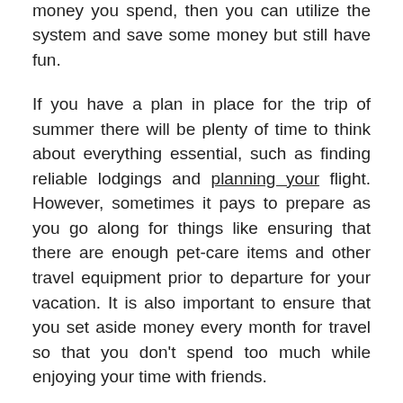also be expensive. If you're careful with the money you spend, then you can utilize the system and save some money but still have fun.
If you have a plan in place for the trip of summer there will be plenty of time to think about everything essential, such as finding reliable lodgings and planning your flight. However, sometimes it pays to prepare as you go along for things like ensuring that there are enough pet-care items and other travel equipment prior to departure for your vacation. It is also important to ensure that you set aside money every month for travel so that you don't spend too much while enjoying your time with friends.
It's an amazing time to be close to your family